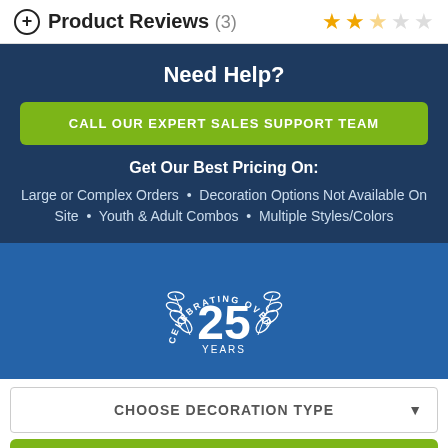Product Reviews (3)
Need Help?
CALL OUR EXPERT SALES SUPPORT TEAM
Get Our Best Pricing On:
Large or Complex Orders • Decoration Options Not Available On Site • Youth & Adult Combos • Multiple Styles/Colors
[Figure (logo): Circular badge reading CELEBRATING OVER 25 YEARS with laurel wreath design]
CHOOSE DECORATION TYPE
START DESIGNING